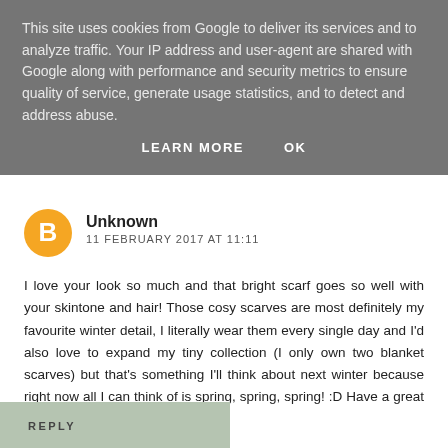This site uses cookies from Google to deliver its services and to analyze traffic. Your IP address and user-agent are shared with Google along with performance and security metrics to ensure quality of service, generate usage statistics, and to detect and address abuse.
LEARN MORE   OK
Unknown
11 FEBRUARY 2017 AT 11:11
I love your look so much and that bright scarf goes so well with your skintone and hair! Those cosy scarves are most definitely my favourite winter detail, I literally wear them every single day and I'd also love to expand my tiny collection (I only own two blanket scarves) but that's something I'll think about next winter because right now all I can think of is spring, spring, spring! :D Have a great weekend! xx
REPLY